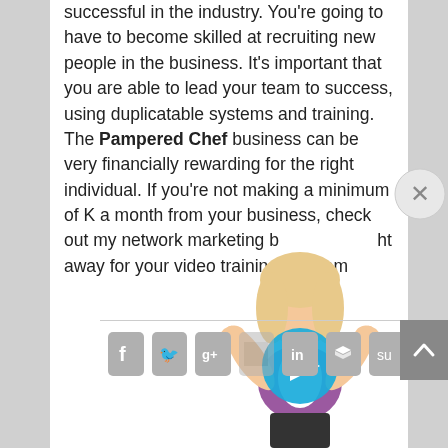successful in the industry. You're going to have to become skilled at recruiting new people in the business. It's important that you are able to lead your team to success, using duplicatable systems and training. The Pampered Chef business can be very financially rewarding for the right individual. If you're not making a minimum of K a month from your business, check out my network marketing b[...] ht away for your video training program[...]
[Figure (illustration): Animated 3D avatar of a blonde woman in a purple vest with hands raised, overlaid with a blue circular video play button]
[Figure (infographic): Social share bar with icons: Facebook, Twitter, Google+, [partial], LinkedIn, Layers/Buffer, StumbleUpon, Email]